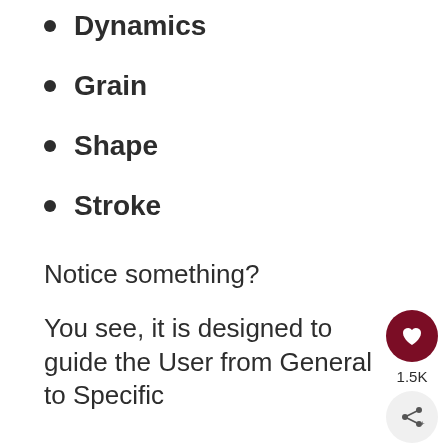Dynamics
Grain
Shape
Stroke
Notice something?
You see, it is designed to guide the User from General to Specific